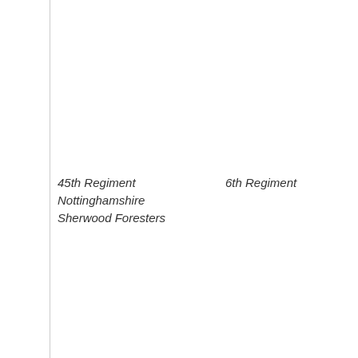45th Regiment    6th Regiment
Nottinghamshire
Sherwood Foresters